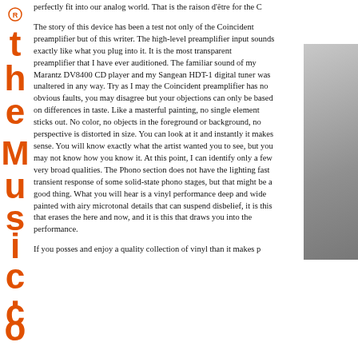[Figure (logo): theMusic.com orange vertical logo with registered trademark symbol]
perfectly fit into our analog world. That is the raison d'être for the C
The story of this device has been a test not only of the Coincident preamplifier but of this writer. The high-level preamplifier input sounds exactly like what you plug into it. It is the most transparent preamplifier that I have ever auditioned. The familiar sound of my Marantz DV8400 CD player and my Sangean HDT-1 digital tuner was unaltered in any way. Try as I may the Coincident preamplifier has no obvious faults, you may disagree but your objections can only be based on differences in taste. Like a masterful painting, no single element sticks out. No color, no objects in the foreground or background, no perspective is distorted in size. You can look at it and instantly it makes sense. You will know exactly what the artist wanted you to see, but you may not know how you know it. At this point, I can identify only a few very broad qualities. The Phono section does not have the lighting fast transient response of some solid-state phono stages, but that might be a good thing. What you will hear is a vinyl performance deep and wide painted with airy microtonal details that can suspend disbelief, it is this that erases the here and now, and it is this that draws you into the performance.
[Figure (photo): Partial photo of audio equipment, grey/silver]
If you posses and enjoy a quality collection of vinyl than it makes p